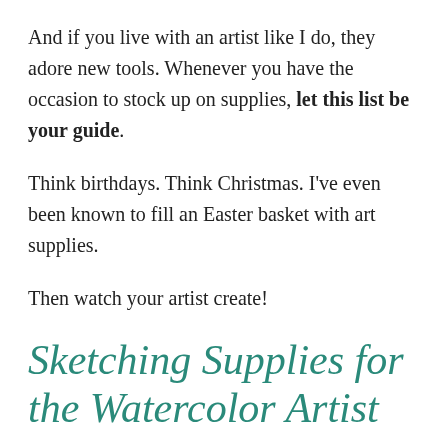And if you live with an artist like I do, they adore new tools. Whenever you have the occasion to stock up on supplies, let this list be your guide.
Think birthdays. Think Christmas. I've even been known to fill an Easter basket with art supplies.
Then watch your artist create!
Sketching Supplies for the Watercolor Artist